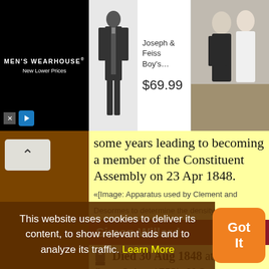[Figure (screenshot): Men's Wearhouse ad banner showing logo, suit product listing for Joseph & Feiss Boy's at $69.99, and a couple in wedding attire]
some years leading to becoming a member of the Constituent Assembly on 23 Apr 1848. «[Image: Apparatus used by Clement and Desormes to determine the density of air.]
Simon Willard
Died 30 Aug 1848 at age 95 (born 3 Apr 1753). U.S. clockmaker, creator of the
This website uses cookies to deliver its content, to show relevant ads and to analyze its traffic. Learn More
[Figure (other): Got It button (orange rounded rectangle)]